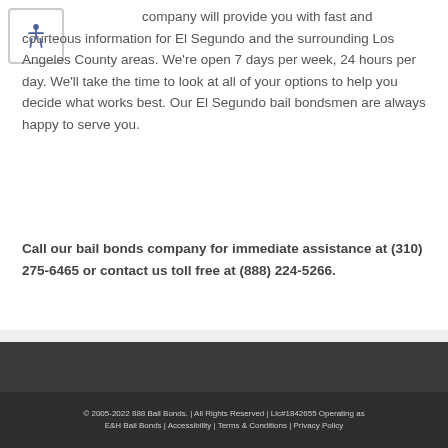company will provide you with fast and courteous information for El Segundo and the surrounding Los Angeles County areas. We're open 7 days per week, 24 hours per day. We'll take the time to look at all of your options to help you decide what works best. Our El Segundo bail bondsmen are always happy to serve you.
Call our bail bonds company for immediate assistance at (310) 275-6465 or contact us toll free at (888) 224-5266.
© 2005-2022 888 Bail Bonds. | All Rights Reserved | Lic#1842655 Operating as E&H Bail Bonds | Accessibility | Terms & Conditions | Privacy Policy